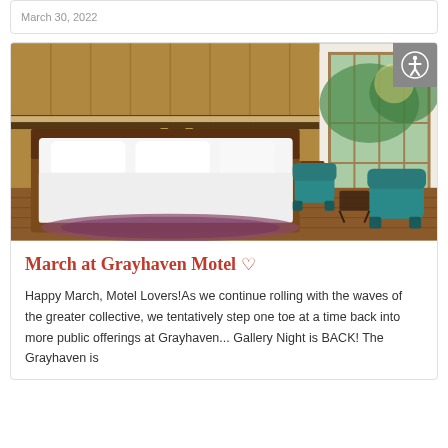March 30, 2022
[Figure (photo): Hotel room with a large king bed with white linens, wooden headboard with accent lighting, hardwood floors, a patterned rug, and two teal mid-century modern chairs near large windows overlooking greenery.]
March at Grayhaven Motel ♡
Happy March, Motel Lovers!As we continue rolling with the waves of the greater collective, we tentatively step one toe at a time back into more public offerings at Grayhaven... Gallery Night is BACK! The Grayhaven is